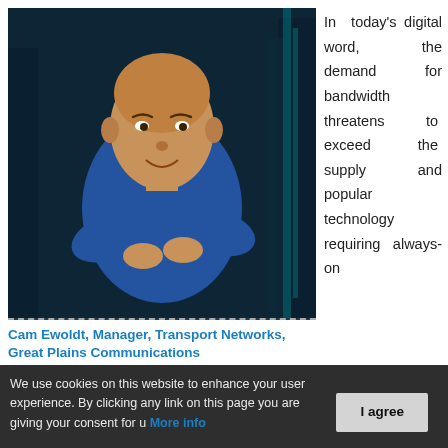[Figure (photo): Man in blue polo shirt standing with arms crossed in front of server rack equipment. Professional headshot/portrait in a data center environment.]
Cam Ewoldt, Manager, Transport Networks, Great Plains Communications
In today's digital word, the demand for bandwidth threatens to exceed the supply and popular technology requiring always-on
We use cookies on this website to enhance your user experience. By clicking any link on this page you are giving your consent for u... More info